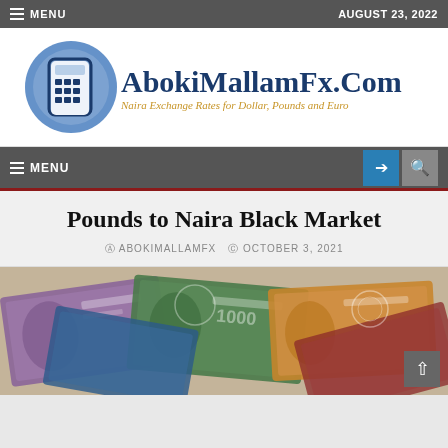≡ MENU   AUGUST 23, 2022
[Figure (logo): AbokiMallamFx.Com logo with calculator icon and tagline: Naira Exchange Rates for Dollar, Pounds and Euro]
≡ MENU
Pounds to Naira Black Market
ABOKIMALLAMFX   OCTOBER 3, 2021
[Figure (photo): Nigerian Naira bank notes spread out, showing various denominations with portraits and designs]